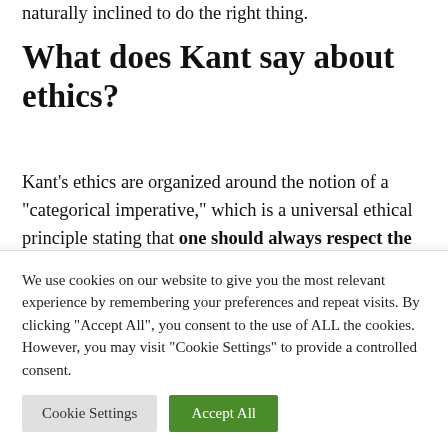naturally inclined to do the right thing.
What does Kant say about ethics?
Kant's ethics are organized around the notion of a “categorical imperative,” which is a universal ethical principle stating that one should always respect the humanity in others, and that one should only act in
We use cookies on our website to give you the most relevant experience by remembering your preferences and repeat visits. By clicking “Accept All”, you consent to the use of ALL the cookies. However, you may visit “Cookie Settings” to provide a controlled consent.